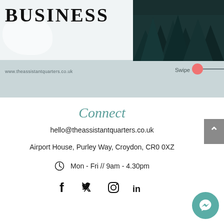BUSINESS
[Figure (photo): Dark forest/pine trees photo in top right corner]
www.theassistantquarters.co.uk
Swipe
Connect
hello@theassistantquarters.co.uk
Airport House, Purley Way, Croydon, CR0 0XZ
Mon - Fri // 9am - 4.30pm
[Figure (illustration): Social media icons: Facebook, Twitter, Instagram, LinkedIn]